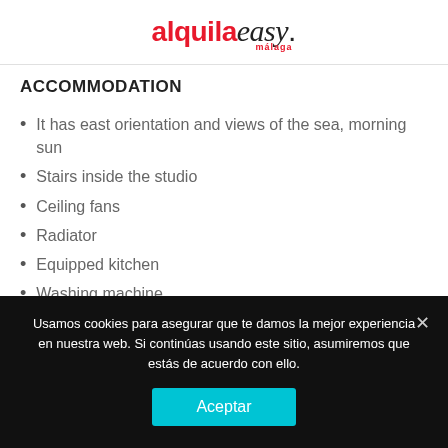alquilaeasy. malaga
ACCOMMODATION
It has east orientation and views of the sea, morning sun
Stairs inside the studio
Ceiling fans
Radiator
Equipped kitchen
Washing machine
Usamos cookies para asegurar que te damos la mejor experiencia en nuestra web. Si continúas usando este sitio, asumiremos que estás de acuerdo con ello.
Aceptar